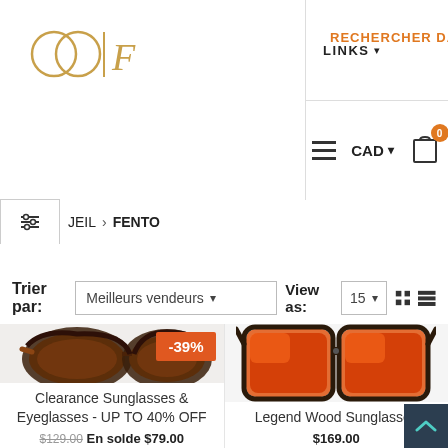[Figure (logo): OF or Odette Fiorentini brand logo — two interlocking circles with vertical line and stylized F, in gold/orange color]
LINKS ▾
RECHERCHER DANS LA BO
≡
CAD ▾
Cart icon with badge 0
JEIL > FENTO
Trier par: Meilleurs vendeurs ▾   View as: 15 ▾ ⊞ ≡
[Figure (photo): Tortoiseshell brown sunglasses with rectangular frames, side angle view]
-39%
Clearance Sunglasses & Eyeglasses - UP TO 40% OFF
$129.00  En solde $79.00
[Figure (photo): Dark wood frame sunglasses with orange/red mirrored lenses, aviator style]
Legend Wood Sunglasses
$169.00